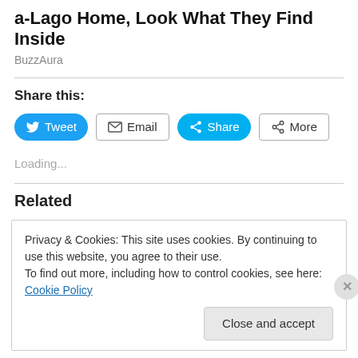a-Lago Home, Look What They Find Inside
BuzzAura
Share this:
Tweet  Email  Share  More
Loading...
Related
Privacy & Cookies: This site uses cookies. By continuing to use this website, you agree to their use.
To find out more, including how to control cookies, see here: Cookie Policy
Close and accept